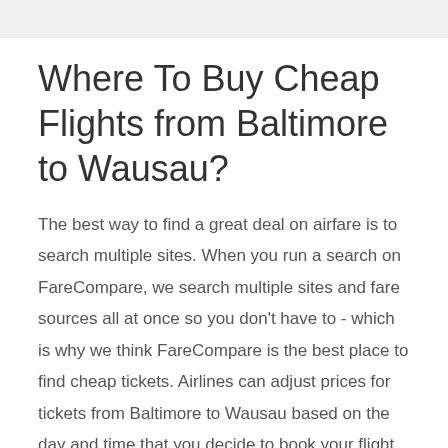Where To Buy Cheap Flights from Baltimore to Wausau?
The best way to find a great deal on airfare is to search multiple sites. When you run a search on FareCompare, we search multiple sites and fare sources all at once so you don't have to - which is why we think FareCompare is the best place to find cheap tickets. Airlines can adjust prices for tickets from Baltimore to Wausau based on the day and time that you decide to book your flight. We have collected data